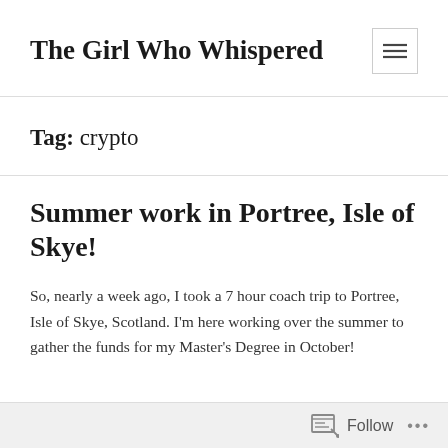The Girl Who Whispered
Tag: crypto
Summer work in Portree, Isle of Skye!
So, nearly a week ago, I took a 7 hour coach trip to Portree, Isle of Skye, Scotland. I'm here working over the summer to gather the funds for my Master's Degree in October!
Follow ...